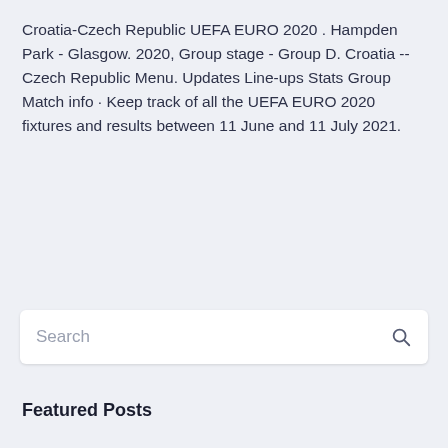Croatia-Czech Republic UEFA EURO 2020 . Hampden Park - Glasgow. 2020, Group stage - Group D. Croatia --Czech Republic Menu. Updates Line-ups Stats Group Match info · Keep track of all the UEFA EURO 2020 fixtures and results between 11 June and 11 July 2021.
Search
Featured Posts